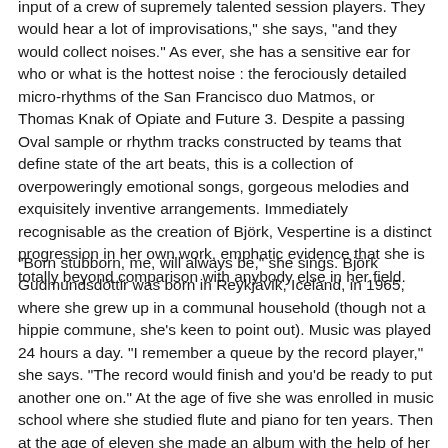input of a crew of supremely talented session players. They would hear a lot of improvisations," she says, "and they would collect noises." As ever, she has a sensitive ear for who or what is the hottest noise : the ferociously detailed micro-rhythms of the San Francisco duo Matmos, or Thomas Knak of Opiate and Future 3. Despite a passing Oval sample or rhythm tracks constructed by teams that define state of the art beats, this is a collection of overpoweringly emotional songs, gorgeous melodies and exquisitely inventive arrangements. Immediately recognisable as the creation of Björk, Vespertine is a distinct progression in her own work, emphatic evidence that she is totally beyond comparison with anybody else in her field.
"Born stubborn, me, will always be," she sings. Björk Gudmundsdóttir was born in Reykjavik, Iceland, in 1965, where she grew up in a communal household (though not a hippie commune, she's keen to point out). Music was played 24 hours a day. "I remember a queue by the record player," she says. "The record would finish and you'd be ready to put another one on." At the age of five she was enrolled in music school where she studied flute and piano for ten years. Then at the age of eleven she made an album with the help of her mother and friends. A big hit in Iceland,